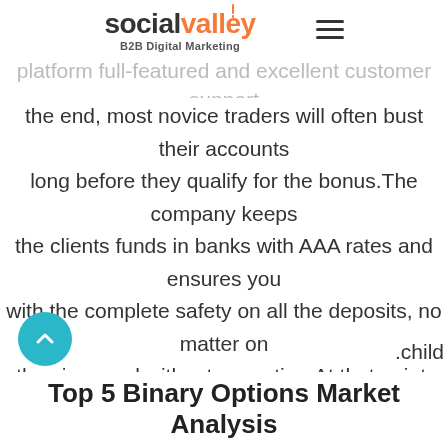[Figure (logo): Social Valley B2B Digital Marketing logo with hamburger menu icon]
the end, most novice traders will often bust their accounts long before they qualify for the bonus.The company keeps the clients funds in banks with AAA rates and ensures you with the complete safety on all the deposits, no matter on the sizes and without exception.At that point, the broker goes AWOL and you never hear from him ever again, or he refuses to do so.Class sizes are most often smaller than the local school, which means more personalized attention for your child.
Top 5 Binary Options Market Analysis